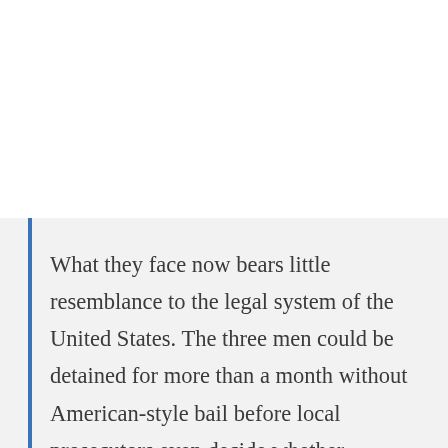What they face now bears little resemblance to the legal system of the United States. The three men could be detained for more than a month without American-style bail before local prosecutors even decide whether